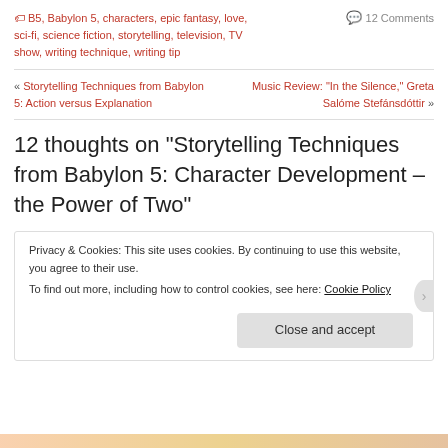🏷 B5, Babylon 5, characters, epic fantasy, love, sci-fi, science fiction, storytelling, television, TV show, writing technique, writing tip
💬 12 Comments
« Storytelling Techniques from Babylon 5: Action versus Explanation
Music Review: "In the Silence," Greta Salóme Stefánsdóttir »
12 thoughts on "Storytelling Techniques from Babylon 5: Character Development – the Power of Two"
Privacy & Cookies: This site uses cookies. By continuing to use this website, you agree to their use.
To find out more, including how to control cookies, see here: Cookie Policy
Close and accept